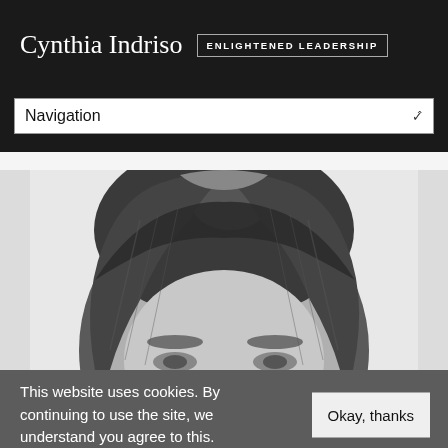Cynthia Indriso ENLIGHTENED LEADERSHIP
Navigation
[Figure (photo): Black and white close-up photograph of the top of a woman's head with brown hair and bangs, cropped at the eyebrows, against a light grey background.]
This website uses cookies. By continuing to use the site, we understand you agree to this.
Okay, thanks